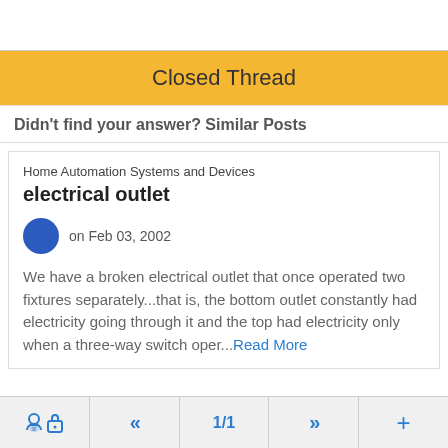Closed Thread
Didn't find your answer? Similar Posts
Home Automation Systems and Devices
electrical outlet
on Feb 03, 2002
We have a broken electrical outlet that once operated two fixtures separately...that is, the bottom outlet constantly had electricity going through it and the top had electricity only when a three-way switch oper...Read More
🔒  «  1/1  »  +